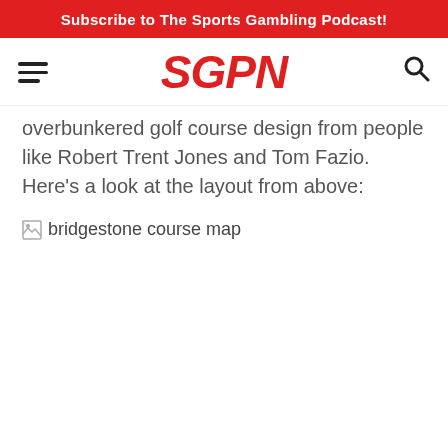Subscribe to The Sports Gambling Podcast!
[Figure (logo): SGPN logo in red italic bold text with hamburger menu icon on left and search icon on right]
overbunkered golf course design from people like Robert Trent Jones and Tom Fazio. Here’s a look at the layout from above:
[Figure (photo): Broken image placeholder labeled 'bridgestone course map']